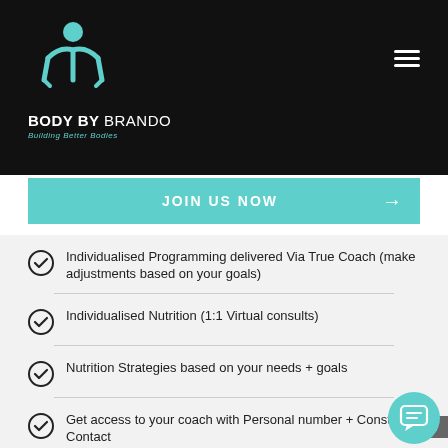[Figure (logo): Body By Brando logo with teal push-up figure silhouette and text 'BODY BY BRANDO Building Better Bodies' on black background]
[Figure (other): Hamburger menu icon (three white horizontal lines) in top right of black header]
JOIN US NOW →
Individualised Programming delivered Via True Coach (make adjustments based on your goals)
Individualised Nutrition (1:1 Virtual consults)
Nutrition Strategies based on your needs + goals
Get access to your coach with Personal number + Constant Contact
Accountability messages